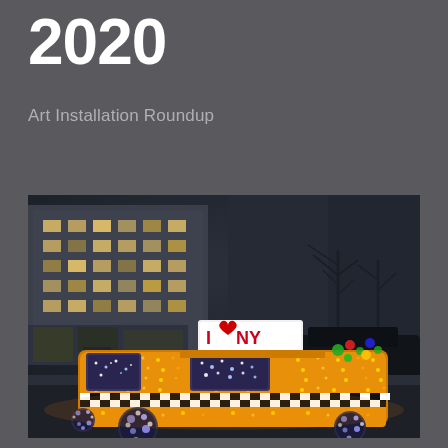2020
Art Installation Roundup
[Figure (photo): Night-time street photo of an illuminated New York City taxi cab sculpture covered in warm golden lights, with an I Love NY sign on the roof, decorative ornaments, and a checkered pattern along its sides. The background shows city buildings and bare trees.]